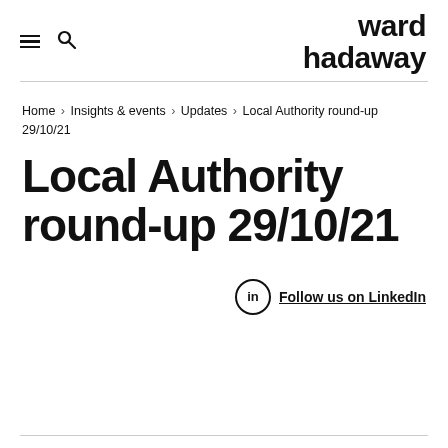ward hadaway
Home › Insights & events › Updates › Local Authority round-up 29/10/21
Local Authority round-up 29/10/21
Follow us on LinkedIn